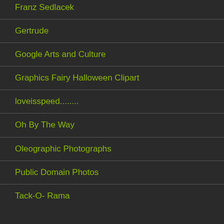Franz Sedlacek
Gertrude
Google Arts and Culture
Graphics Fairy Halloween Clipart
loveisspeed........
Oh By The Way
Oleographic Photographs
Public Domain Photos
Tack-O- Rama